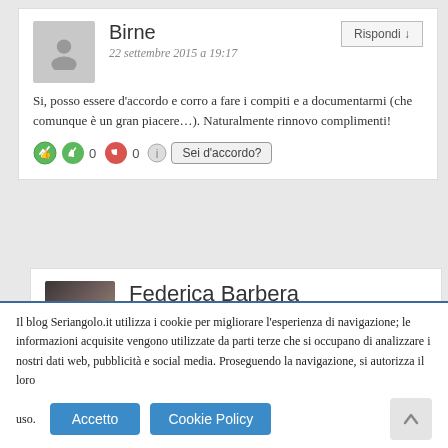Birne
22 settembre 2015 a 19:17
Si, posso essere d'accordo e corro a fare i compiti e a documentarmi (che comunque è un gran piacere...). Naturalmente rinnovo complimenti!
0 0 Sei d'accordo?
Federica Barbera
22 settembre 2015 a 19:38
Consiglio per un ruolo davvero fuori dagli schemi A
Il blog Seriangolo.it utilizza i cookie per migliorare l'esperienza di navigazione; le informazioni acquisite vengono utilizzate da parti terze che si occupano di analizzare i nostri dati web, pubblicità e social media. Proseguendo la navigazione, si autorizza il loro uso.